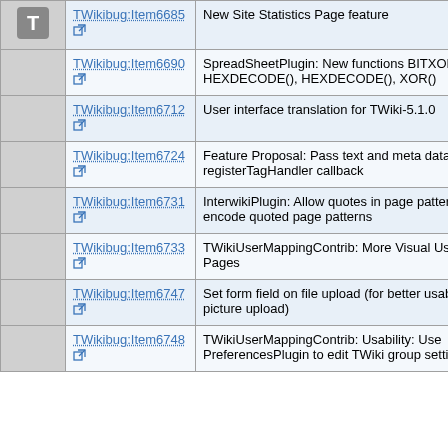|  | Link | Description |
| --- | --- | --- |
| T | TWikibug:Item6685 | New Site Statistics Page feature |
|  | TWikibug:Item6690 | SpreadSheetPlugin: New functions BITXOR(), HEXDECODE(), HEXDECODE(), XOR() |
|  | TWikibug:Item6712 | User interface translation for TWiki-5.1.0 |
|  | TWikibug:Item6724 | Feature Proposal: Pass text and meta data to registerTagHandler callback |
|  | TWikibug:Item6731 | InterwikiPlugin: Allow quotes in page pattern, and URL-encode quoted page patterns |
|  | TWikibug:Item6733 | TWikiUserMappingContrib: More Visual User Profile Pages |
|  | TWikibug:Item6747 | Set form field on file upload (for better usability of profile picture upload) |
|  | TWikibug:Item6748 | TWikiUserMappingContrib: Usability: Use PreferencesPlugin to edit TWiki group settings |